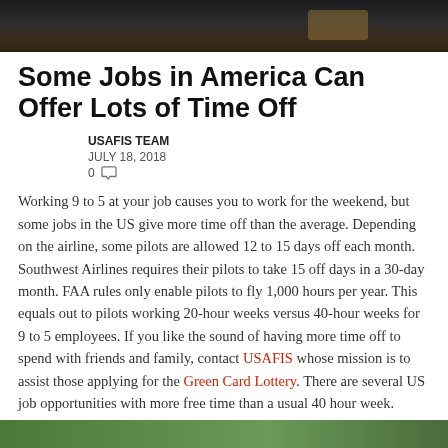[Figure (photo): Dark background image at top of article, appears to be a nighttime or dark-toned photograph]
Some Jobs in America Can Offer Lots of Time Off
USAFIS TEAM
JULY 18, 2018
0
Working 9 to 5 at your job causes you to work for the weekend, but some jobs in the US give more time off than the average. Depending on the airline, some pilots are allowed 12 to 15 days off each month. Southwest Airlines requires their pilots to take 15 off days in a 30-day month. FAA rules only enable pilots to fly 1,000 hours per year. This equals out to pilots working 20-hour weeks versus 40-hour weeks for 9 to 5 employees. If you like the sound of having more time off to spend with friends and family, contact USAFIS whose mission is to assist those applying for the Green Card Lottery. There are several US job opportunities with more free time than a usual 40 hour week.
[Figure (photo): Green outdoor/nature image at bottom of page]